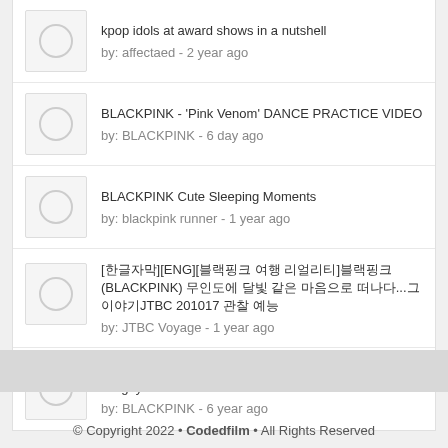kpop idols at award shows in a nutshell
by: affectaed - 2 year ago
BLACKPINK - 'Pink Venom' DANCE PRACTICE VIDEO
by: BLACKPINK - 6 day ago
BLACKPINK Cute Sleeping Moments
by: blackpink runner - 1 year ago
[한글자막][ENG][블랙핑크 여행 리얼리티]블랙핑크(BLACKPINK) 무인도에 달빛 같은 마음으로 떠나다...그 이야기JTBC 201017 관찰 예능
by: JTBC Voyage - 1 year ago
BLACKPINK - '붐바야(BOOMBAYAH)' 0814 SBS Inkigayo
by: BLACKPINK - 6 year ago
© Copyright 2022 • Codedfilm • All Rights Reserved